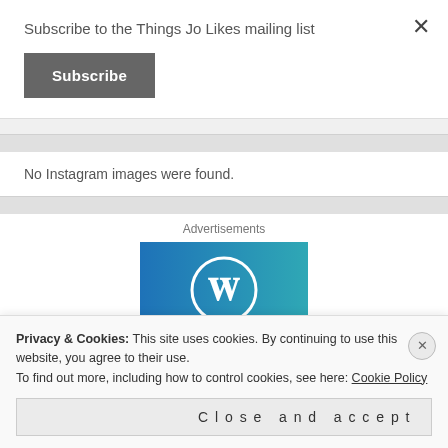Subscribe to the Things Jo Likes mailing list
Subscribe
No Instagram images were found.
Advertisements
[Figure (logo): WordPress logo on blue gradient background]
Privacy & Cookies: This site uses cookies. By continuing to use this website, you agree to their use. To find out more, including how to control cookies, see here: Cookie Policy
Close and accept